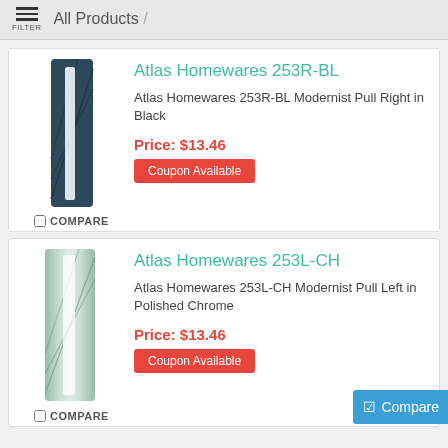FILTER  All Products /
[Figure (photo): Atlas Homewares 253R-BL modernist pull right in black, vertical elongated pull handle in dark navy/black color]
Atlas Homewares 253R-BL
Atlas Homewares 253R-BL Modernist Pull Right in Black
Price: $13.46
Coupon Available
COMPARE
[Figure (photo): Atlas Homewares 253L-CH modernist pull left in polished chrome, vertical elongated pull handle in silver/chrome color]
Atlas Homewares 253L-CH
Atlas Homewares 253L-CH Modernist Pull Left in Polished Chrome
Price: $13.46
Coupon Available
Compare
COMPARE